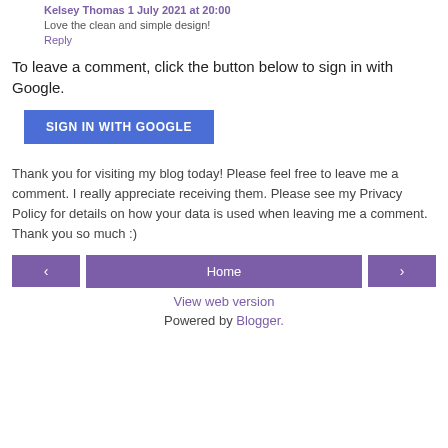Kelsey Thomas 1 July 2021 at 20:00
Love the clean and simple design!
Reply
To leave a comment, click the button below to sign in with Google.
SIGN IN WITH GOOGLE
Thank you for visiting my blog today! Please feel free to leave me a comment. I really appreciate receiving them. Please see my Privacy Policy for details on how your data is used when leaving me a comment. Thank you so much :)
Home
View web version
Powered by Blogger.